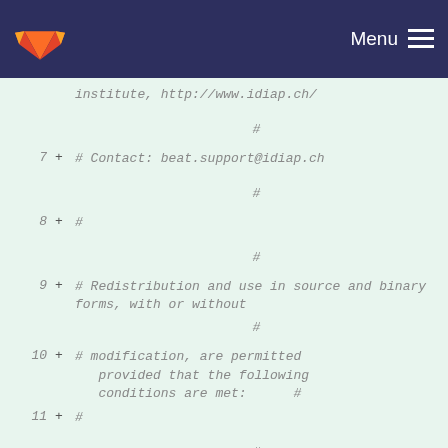Menu
institute, http://www.idiap.ch/
#
7 + # Contact: beat.support@idiap.ch
#
8 + #
#
9 + # Redistribution and use in source and binary forms, with or without
#
10 + # modification, are permitted provided that the following conditions are met:      #
11 + #
#
12 + # 1. Redistributions of source code must retain the above copyright notice, this  #